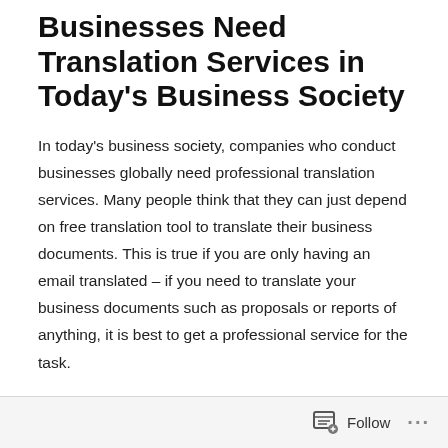Businesses Need Translation Services in Today's Business Society
In today's business society, companies who conduct businesses globally need professional translation services. Many people think that they can just depend on free translation tool to translate their business documents. This is true if you are only having an email translated – if you need to translate your business documents such as proposals or reports of anything, it is best to get a professional service for the task.
Free translation tools can only do so much – as different countries have different dialects and language styles, it
Follow